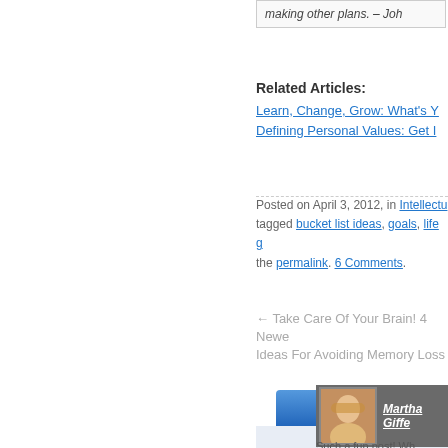making other plans. – Joh
Related Articles:
Learn, Change, Grow: What's Y
Defining Personal Values: Get I
Posted on April 3, 2012, in Intellectu tagged bucket list ideas, goals, life g the permalink. 6 Comments.
← Take Care Of Your Brain! 4 Newe Ideas For Avoiding Memory Loss
COMMENT
Martha Giffe
Such a fun post! Wh